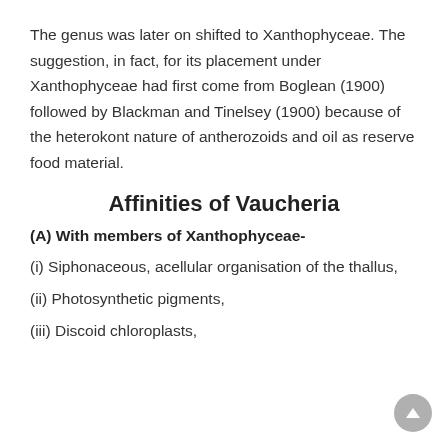The genus was later on shifted to Xanthophyceae. The suggestion, in fact, for its placement under Xanthophyceae had first come from Boglean (1900) followed by Blackman and Tinelsey (1900) because of the heterokont nature of antherozoids and oil as reserve food material.
Affinities of Vaucheria
(A) With members of Xanthophyceae-
(i) Siphonaceous, acellular organisation of the thallus,
(ii) Photosynthetic pigments,
(iii) Discoid chloroplasts,